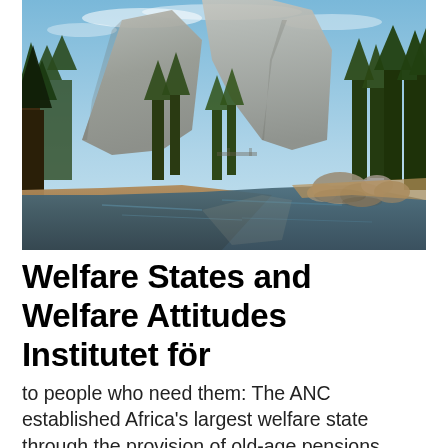[Figure (photo): Landscape photograph of Yosemite Valley showing granite cliffs, tall pine and green deciduous trees, a calm reflecting river or lake in the foreground, sandy riverbank, and boulders on the right side, under a partly cloudy blue sky.]
Welfare States and Welfare Attitudes Institutet för
to people who need them: The ANC established Africa's largest welfare state through the provision of old-age pensions.